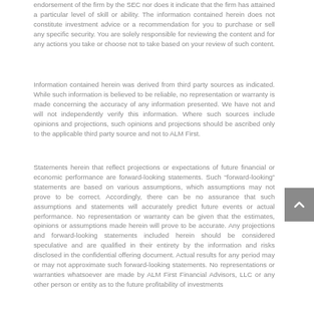endorsement of the firm by the SEC nor does it indicate that the firm has attained a particular level of skill or ability. The information contained herein does not constitute investment advice or a recommendation for you to purchase or sell any specific security. You are solely responsible for reviewing the content and for any actions you take or choose not to take based on your review of such content.
Information contained herein was derived from third party sources as indicated. While such information is believed to be reliable, no representation or warranty is made concerning the accuracy of any information presented. We have not and will not independently verify this information. Where such sources include opinions and projections, such opinions and projections should be ascribed only to the applicable third party source and not to ALM First.
Statements herein that reflect projections or expectations of future financial or economic performance are forward-looking statements. Such “forward-looking” statements are based on various assumptions, which assumptions may not prove to be correct. Accordingly, there can be no assurance that such assumptions and statements will accurately predict future events or actual performance. No representation or warranty can be given that the estimates, opinions or assumptions made herein will prove to be accurate. Any projections and forward-looking statements included herein should be considered speculative and are qualified in their entirety by the information and risks disclosed in the confidential offering document. Actual results for any period may or may not approximate such forward-looking statements. No representations or warranties whatsoever are made by ALM First Financial Advisors, LLC or any other person or entity as to the future profitability of investments